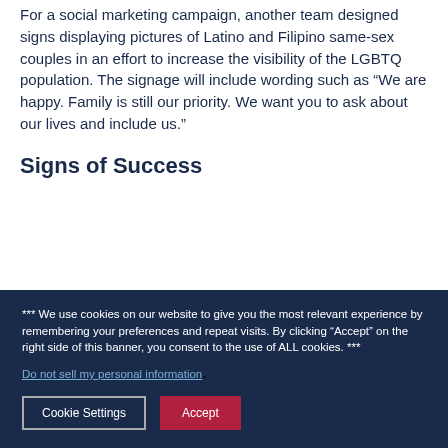For a social marketing campaign, another team designed signs displaying pictures of Latino and Filipino same-sex couples in an effort to increase the visibility of the LGBTQ population. The signage will include wording such as “We are happy. Family is still our priority. We want you to ask about our lives and include us.”
Signs of Success
*** We use cookies on our website to give you the most relevant experience by remembering your preferences and repeat visits. By clicking “Accept” on the right side of this banner, you consent to the use of ALL cookies. ***
Do not sell my personal information.
Cookie Settings  Accept